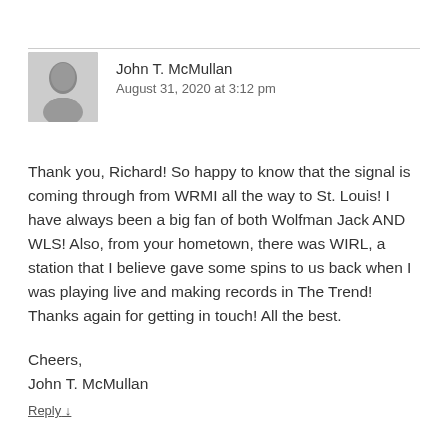John T. McMullan
August 31, 2020 at 3:12 pm
Thank you, Richard! So happy to know that the signal is coming through from WRMI all the way to St. Louis! I have always been a big fan of both Wolfman Jack AND WLS! Also, from your hometown, there was WIRL, a station that I believe gave some spins to us back when I was playing live and making records in The Trend! Thanks again for getting in touch! All the best.

Cheers,
John T. McMullan
Reply ↓